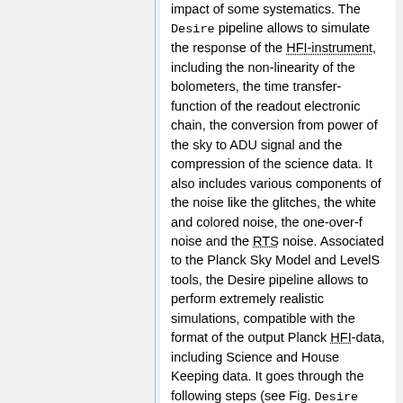impact of some systematics. The Desire pipeline allows to simulate the response of the HFI-instrument, including the non-linearity of the bolometers, the time transfer-function of the readout electronic chain, the conversion from power of the sky to ADU signal and the compression of the science data. It also includes various components of the noise like the glitches, the white and colored noise, the one-over-f noise and the RTS noise. Associated to the Planck Sky Model and LevelS tools, the Desire pipeline allows to perform extremely realistic simulations, compatible with the format of the output Planck HFI-data, including Science and House Keeping data. It goes through the following steps (see Fig. Desire End-to-End Simulations) :